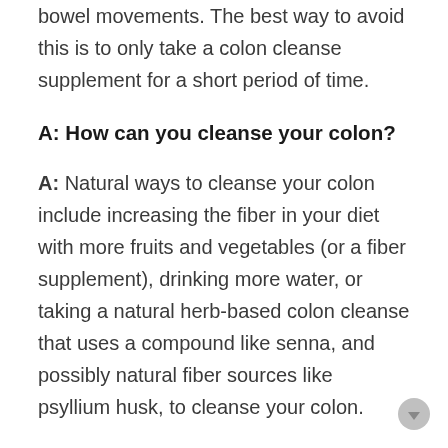bowel movements. The best way to avoid this is to only take a colon cleanse supplement for a short period of time.
A: How can you cleanse your colon?
A: Natural ways to cleanse your colon include increasing the fiber in your diet with more fruits and vegetables (or a fiber supplement), drinking more water, or taking a natural herb-based colon cleanse that uses a compound like senna, and possibly natural fiber sources like psyllium husk, to cleanse your colon.
You can repopulate your gastrointestinal tract with a good gut microbiome by taking a supplement that